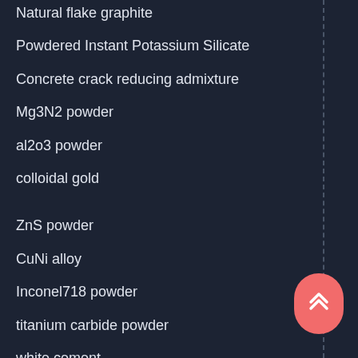Natural flake graphite
Powdered Instant Potassium Silicate
Concrete crack reducing admixture
Mg3N2 powder
al2o3 powder
colloidal gold
ZnS powder
CuNi alloy
Inconel718 powder
titanium carbide powder
white cement
Aluminum Nitride
Influenced